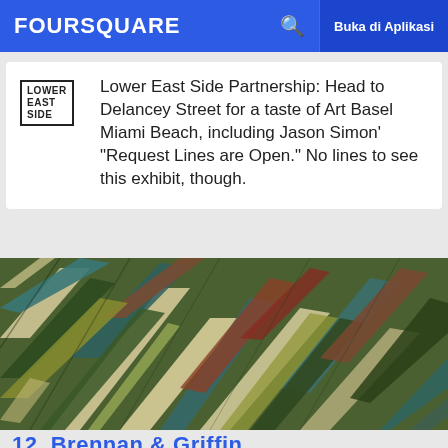FOURSQUARE  Buka di Aplikasi
Lower East Side Partnership: Head to Delancey Street for a taste of Art Basel Miami Beach, including Jason Simon' "Request Lines are Open." No lines to see this exhibit, though.
[Figure (photo): Close-up photo of colorful woven or braided textile/artwork with greens, blues, teals, yellows, reds and browns intertwined diagonally.]
12. Brennan & Griffin